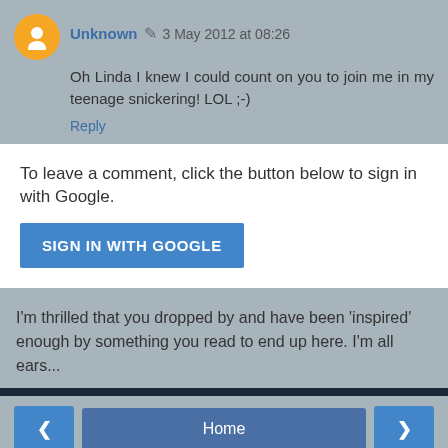Unknown  3 May 2012 at 08:26
Oh Linda I knew I could count on you to join me in my teenage snickering! LOL ;-)
Reply
To leave a comment, click the button below to sign in with Google.
[Figure (screenshot): SIGN IN WITH GOOGLE button, blue background]
I'm thrilled that you dropped by and have been 'inspired' enough by something you read to end up here. I'm all ears...
< Home > View web version
[Figure (screenshot): MBA - Business Analytics advertisement banner at bottom]